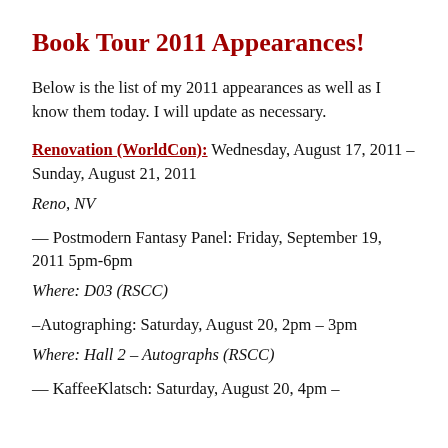Book Tour 2011 Appearances!
Below is the list of my 2011 appearances as well as I know them today. I will update as necessary.
Renovation (WorldCon): Wednesday, August 17, 2011 –Sunday, August 21, 2011
Reno, NV
— Postmodern Fantasy Panel: Friday, September 19, 2011 5pm-6pm
Where: D03 (RSCC)
–Autographing: Saturday, August 20, 2pm – 3pm
Where: Hall 2 – Autographs (RSCC)
— KaffeeKlatsch: Saturday, August 20, 4pm –